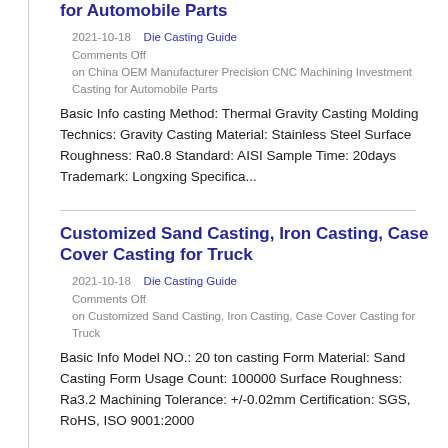for Automobile Parts
2021-10-18    Die Casting Guide
Comments Off
on China OEM Manufacturer Precision CNC Machining Investment Casting for Automobile Parts
Basic Info casting Method: Thermal Gravity Casting Molding Technics: Gravity Casting Material: Stainless Steel Surface Roughness: Ra0.8 Standard: AISI Sample Time: 20days Trademark: Longxing Specifica...
Customized Sand Casting, Iron Casting, Case Cover Casting for Truck
2021-10-18    Die Casting Guide
Comments Off
on Customized Sand Casting, Iron Casting, Case Cover Casting for Truck
Basic Info Model NO.: 20 ton casting Form Material: Sand Casting Form Usage Count: 100000 Surface Roughness: Ra3.2 Machining Tolerance: +/-0.02mm Certification: SGS, RoHS, ISO 9001:2000